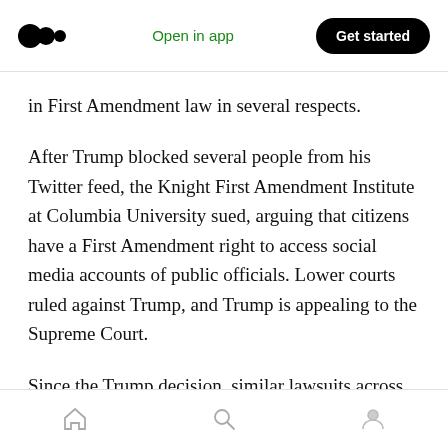Open in app | Get started
in First Amendment law in several respects.
After Trump blocked several people from his Twitter feed, the Knight First Amendment Institute at Columbia University sued, arguing that citizens have a First Amendment right to access social media accounts of public officials. Lower courts ruled against Trump, and Trump is appealing to the Supreme Court.
Since the Trump decision, similar lawsuits across the country have established that elected officials generally can't block citizens from their
Home | Search | Profile